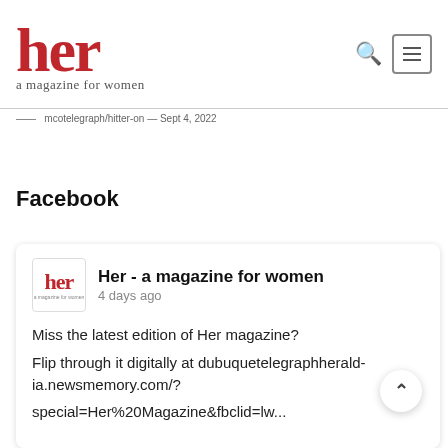[Figure (logo): Her - a magazine for women logo in red serif font with tagline]
... mcotelegraph/hitter-on — Sept 4, 2022
Facebook
Her - a magazine for women
4 days ago

Miss the latest edition of Her magazine?

Flip through it digitally at dubuquetelegraphherald-ia.newsmemory.com/? special=Her%20Magazine&fbclid=lw...